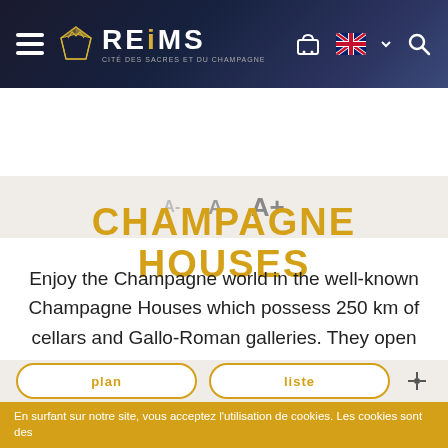REIMS — Cité des sacres et du champagne — Navigation header with hamburger menu, cart, language selector (EN/UK flag), and search icon
[Figure (screenshot): Accessibility font size controls: A- A A+]
CHAMPAGNE HOUSES
Enjoy the Champagne world in the well-known Champagne Houses which possess 250 km of cellars and Gallo-Roman galleries. They open their doors for tours, tastings...
En surfant sur notre site, vous acceptez l'utilisation de cookies. Les cookies sont des